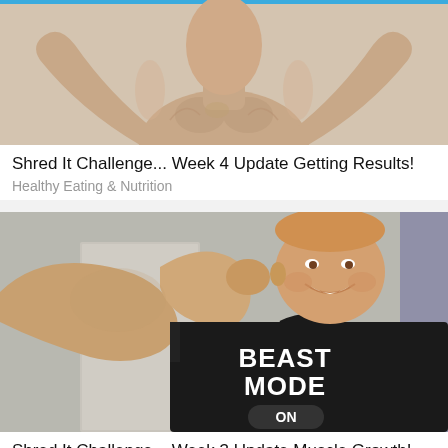[Figure (photo): Person flexing back muscles shirtless, seen from front with arms raised outward showing muscle tone, blue border at top]
Shred It Challenge... Week 4 Update Getting Results!
Healthy Eating & Nutrition
[Figure (photo): Person smiling and flexing one arm wearing a black 'BEAST MODE ON' t-shirt, bathroom background]
Shred It Challenge... Week 3 Update Muscle Growth!